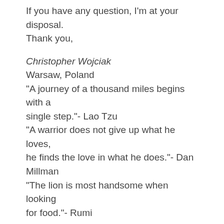If you have any question, I'm at your disposal.
Thank you,
Christopher Wojciak
Warsaw, Poland
“A journey of a thousand miles begins with a single step.”- Lao Tzu
“A warrior does not give up what he loves, he finds the love in what he does.”- Dan Millman
“The lion is most handsome when looking for food.”- Rumi